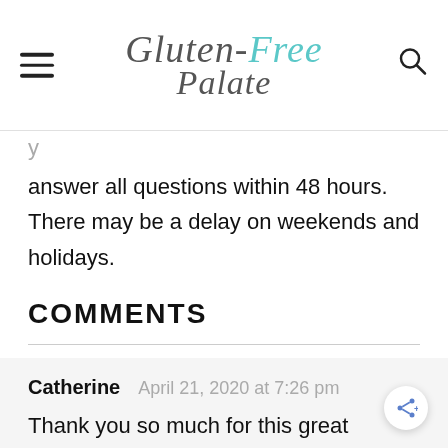[Figure (logo): Gluten-Free Palate website logo in cursive script with a hamburger menu icon on the left and a search icon on the right]
answer all questions within 48 hours. There may be a delay on weekends and holidays.
COMMENTS
Catherine   April 21, 2020 at 7:26 pm
Thank you so much for this great